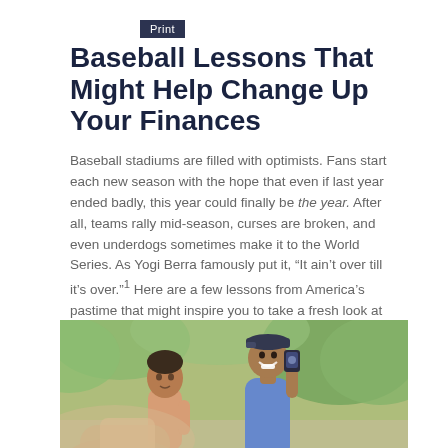Print
Baseball Lessons That Might Help Change Up Your Finances
Baseball stadiums are filled with optimists. Fans start each new season with the hope that even if last year ended badly, this year could finally be the year. After all, teams rally mid-season, curses are broken, and even underdogs sometimes make it to the World Series. As Yogi Berra famously put it, “It ain’t over till it’s over.”¹ Here are a few lessons from America’s pastime that might inspire you to take a fresh look at your finances.
[Figure (photo): Photo of two people outdoors smiling, one holding a phone camera toward viewer, with greenery in background. A hand in foreground appears to be holding something toward camera.]